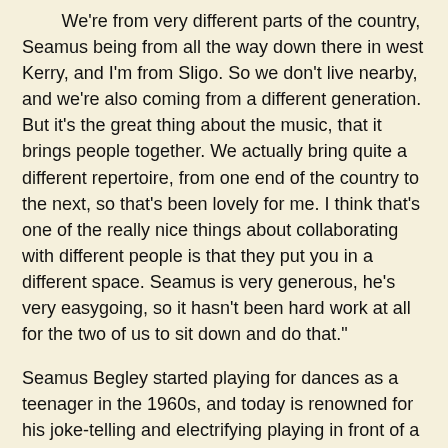We're from very different parts of the country, Seamus being from all the way down there in west Kerry, and I'm from Sligo. So we don't live nearby, and we're also coming from a different generation. But it's the great thing about the music, that it brings people together. We actually bring quite a different repertoire, from one end of the country to the next, so that's been lovely for me. I think that's one of the really nice things about collaborating with different people is that they put you in a different space. Seamus is very generous, he's very easygoing, so it hasn't been hard work at all for the two of us to sit down and do that."
Seamus Begley started playing for dances as a teenager in the 1960s, and today is renowned for his joke-telling and electrifying playing in front of a live audience . But once in a while, he sings a show-stopping song in a soulful, high tenor which takes the music to a deeper place.
"If you meet him during a boisterous night and if you haven't had the opportunity of hearing him sing, it sometimes causes a lot of surprise to people to hear him singing. Because he sings so sweetly, so softly, so gently. And then, when you hear him in the middle of a...